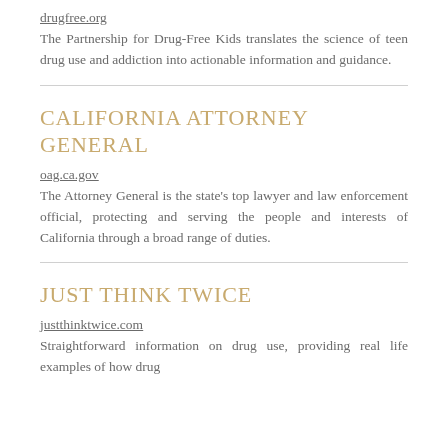drugfree.org
The Partnership for Drug-Free Kids translates the science of teen drug use and addiction into actionable information and guidance.
CALIFORNIA ATTORNEY GENERAL
oag.ca.gov
The Attorney General is the state's top lawyer and law enforcement official, protecting and serving the people and interests of California through a broad range of duties.
JUST THINK TWICE
justthinktwice.com
Straightforward information on drug use, providing real life examples of how drug